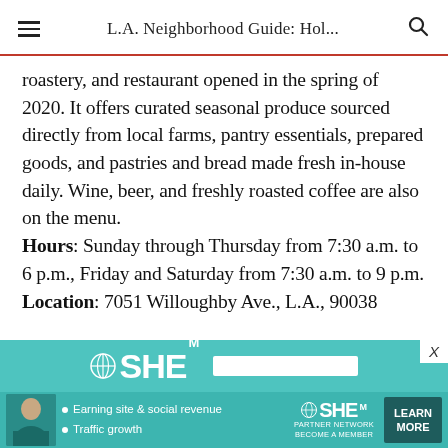L.A. Neighborhood Guide: Hol...
roastery, and restaurant opened in the spring of 2020. It offers curated seasonal produce sourced directly from local farms, pantry essentials, prepared goods, and pastries and bread made fresh in-house daily. Wine, beer, and freshly roasted coffee are also on the menu. Hours: Sunday through Thursday from 7:30 a.m. to 6 p.m., Friday and Saturday from 7:30 a.m. to 9 p.m. Location: 7051 Willoughby Ave., L.A., 90038
[Figure (infographic): Advertisement banner for SHE Media Partner Network with teal background, logo, bullets about earning site & social revenue and traffic growth, and a Learn More button]